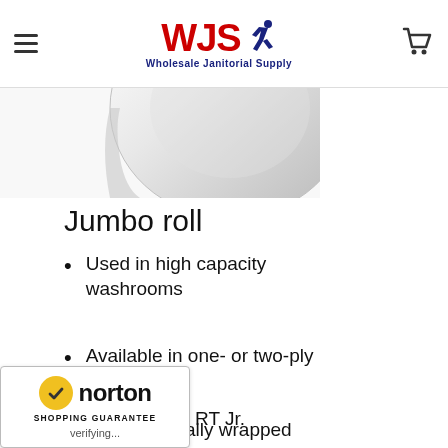WJS Wholesale Janitorial Supply
[Figure (photo): Partial view of a jumbo toilet paper roll, white/silver, cropped at top]
Jumbo roll
Used in high capacity washrooms
Available in one- or two-ply
Not individually wrapped
Sizes
RT Jr.
[Figure (logo): Norton Shopping Guarantee badge with checkmark and verifying... text]